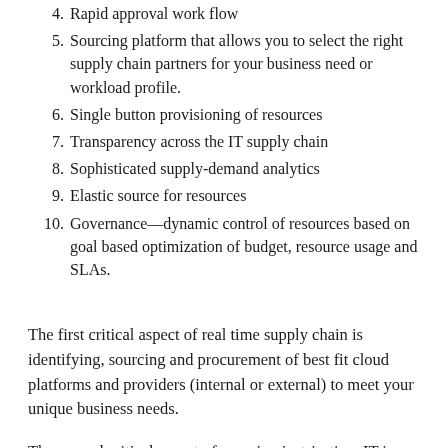4. Rapid approval work flow
5. Sourcing platform that allows you to select the right supply chain partners for your business need or workload profile.
6. Single button provisioning of resources
7. Transparency across the IT supply chain
8. Sophisticated supply-demand analytics
9. Elastic source for resources
10. Governance—dynamic control of resources based on goal based optimization of budget, resource usage and SLAs.
The first critical aspect of real time supply chain is identifying, sourcing and procurement of best fit cloud platforms and providers (internal or external) to meet your unique business needs.
The second critical aspect of ensuring just-in-time IT is effective is real-time governance, for this is the mechanism by